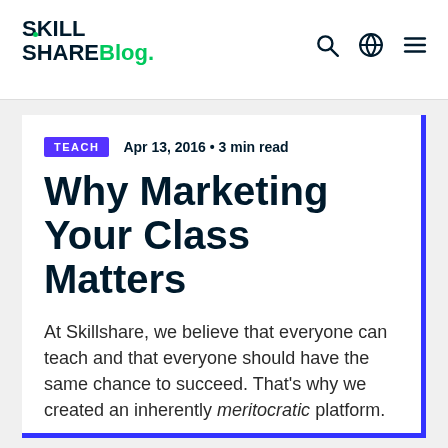SKILL SHARE Blog.
TEACH  Apr 13, 2016 • 3 min read
Why Marketing Your Class Matters
At Skillshare, we believe that everyone can teach and that everyone should have the same chance to succeed. That’s why we created an inherently meritocratic platform.